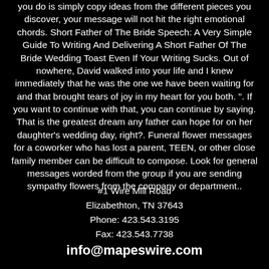you do is simply copy ideas from the different pieces you discover, your message will not hit the right emotional chords. Short Father of The Bride Speech: A Very Simple Guide To Writing And Delivering A Short Father Of The Bride Wedding Toast Even If Your Writing Sucks. Out of nowhere, David walked into your life and I knew immediately that he was the one we have been waiting for and that brought tears of joy in my heart for you both. ". If you want to continue with that, you can continue by saying. That is the greatest dream any father can hope for on her daughter's wedding day, right?. Funeral flower messages for a coworker who has lost a parent, TEEN, or other close family member can be difficult to compose. Look for general messages worded from the group if you are sending sympathy flowers from the company or department..
#1 Wire Mill Road
Elizabethton, TN 37643
Phone: 423.543.3195
Fax: 423.543.7738
info@mapeswire.com